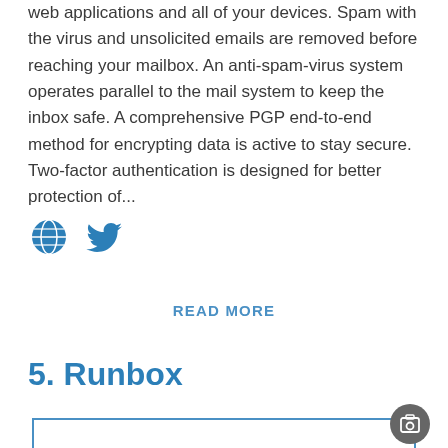web applications and all of your devices. Spam with the virus and unsolicited emails are removed before reaching your mailbox. An anti-spam-virus system operates parallel to the mail system to keep the inbox safe. A comprehensive PGP end-to-end method for encrypting data is active to stay secure. Two-factor authentication is designed for better protection of...
[Figure (infographic): Globe icon and Twitter bird icon in blue]
READ MORE
5. Runbox
[Figure (screenshot): Image placeholder box with blue border and a camera/gallery icon button in the top-right corner]